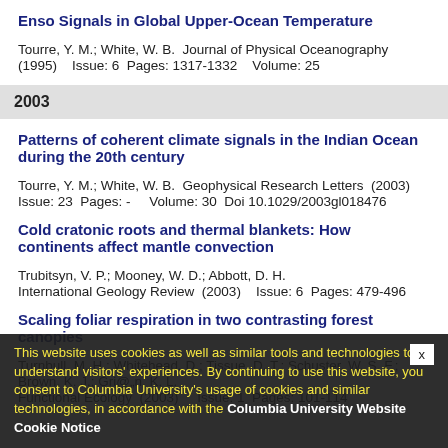Enso Signals in Global Upper-Ocean Temperature
Tourre, Y. M.; White, W. B.  Journal of Physical Oceanography  (1995)    Issue: 6  Pages: 1317-1332    Volume: 25
2003
Patterns of coherent climate signals in the Indian Ocean during the 20th century
Tourre, Y. M.; White, W. B.  Geophysical Research Letters  (2003)  Issue: 23  Pages: -    Volume: 30  Doi 10.1029/2003gl018476
Cold cratonic roots and thermal blankets: How continents affect mantle convection
Trubitsyn, V. P.; Mooney, W. D.; Abbott, D. H.  International Geology Review  (2003)    Issue: 6  Pages: 479-496
Scaling foliar respiration in two contrasting forest canopies
Turnbull, M. H.; Whitehead, D.; Tissue, D. T.; Schuster, W. S. F.; Brown, K. J.; Grifﬁn, K. L.  Functional Ecology  (2003)    Issue: 1  Pages: 101-114